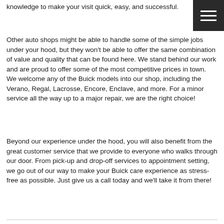knowledge to make your visit quick, easy, and successful.
[Figure (other): Hamburger menu icon — three white horizontal lines on dark background]
Other auto shops might be able to handle some of the simple jobs under your hood, but they won't be able to offer the same combination of value and quality that can be found here. We stand behind our work and are proud to offer some of the most competitive prices in town. We welcome any of the Buick models into our shop, including the Verano, Regal, Lacrosse, Encore, Enclave, and more. For a minor service all the way up to a major repair, we are the right choice!
Beyond our experience under the hood, you will also benefit from the great customer service that we provide to everyone who walks through our door. From pick-up and drop-off services to appointment setting, we go out of our way to make your Buick care experience as stress-free as possible. Just give us a call today and we'll take it from there!